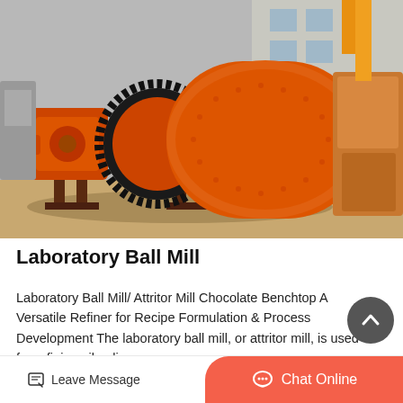[Figure (photo): Large orange industrial ball mill machine (Laboratory Ball Mill / Attritor Mill) photographed outdoors at a manufacturing or industrial yard. The machine features a large cylindrical drum, a prominent black gear ring, and orange painted steel body, with other industrial equipment visible in the background.]
Laboratory Ball Mill
Laboratory Ball Mill/ Attritor Mill Chocolate Benchtop A Versatile Refiner for Recipe Formulation & Process Development The laboratory ball mill, or attritor mill, is used for refining nibs, liquor…